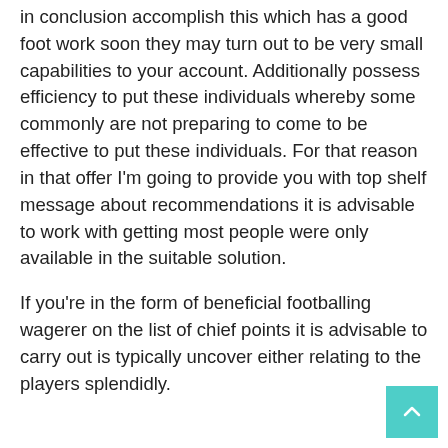in conclusion accomplish this which has a good foot work soon they may turn out to be very small capabilities to your account. Additionally possess efficiency to put these individuals whereby some commonly are not preparing to come to be effective to put these individuals. For that reason in that offer I'm going to provide you with top shelf message about recommendations it is advisable to work with getting most people were only available in the suitable solution.
If you're in the form of beneficial footballing wagerer on the list of chief points it is advisable to carry out is typically uncover either relating to the players splendidly.